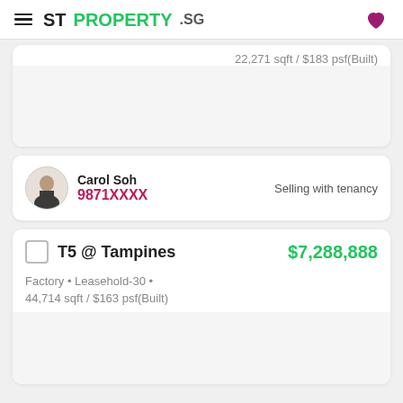STPROPERTY.sg
22,271 sqft / $183 psf(Built)
Carol Soh
9871XXXX
Selling with tenancy
T5 @ Tampines $7,288,888
Factory • Leasehold-30 •
44,714 sqft / $163 psf(Built)